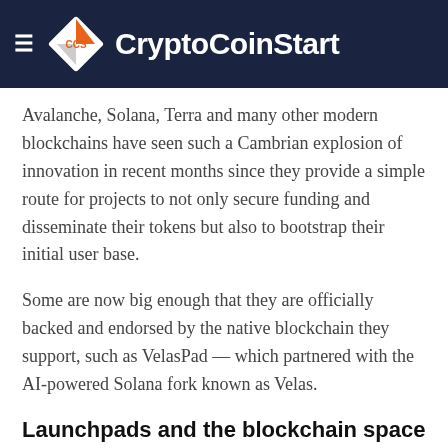CryptoCoinStart
Avalanche, Solana, Terra and many other modern blockchains have seen such a Cambrian explosion of innovation in recent months since they provide a simple route for projects to not only secure funding and disseminate their tokens but also to bootstrap their initial user base.
Some are now big enough that they are officially backed and endorsed by the native blockchain they support, such as VelasPad — which partnered with the AI-powered Solana fork known as Velas.
Launchpads and the blockchain space